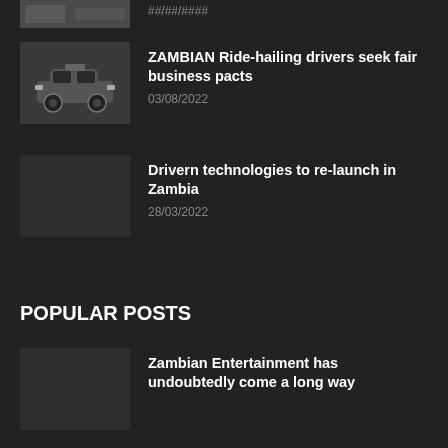[Figure (photo): Partial thumbnail image of a scene, cropped at top of page]
##/##/####
[Figure (illustration): Dark grey thumbnail showing a simple car illustration (taxi/police car style)]
ZAMBIAN Ride-hailing drivers seek fair business pacts
03/08/2022
Drivern technologies to re-launch in Zambia
28/03/2022
POPULAR POSTS
Zambian Entertainment has undoubtedly come a long way